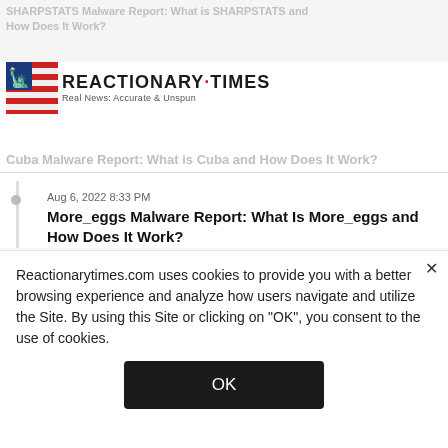SHARPSTATS Malware Report: What is SHARPSTATS and How Does It Work?
[Figure (logo): Reactionary Times logo with Statue of Liberty icon, text 'REACTIONARY TIMES Real News: Accurate & Unspun']
Cuba Malware Report: What is Cuba and How Does It Work?
Aug 6, 2022 8:33 PM
More_eggs Malware Report: What Is More_eggs and How Does It Work?
Aug 4, 2022 8:00 PM
What is Mainsearchadvise Browser Hijacker?
Aug 3, 2022 11:06 PM
What is Readinstruction Ransomware
Reactionarytimes.com uses cookies to provide you with a better browsing experience and analyze how users navigate and utilize the Site. By using this Site or clicking on "OK", you consent to the use of cookies.